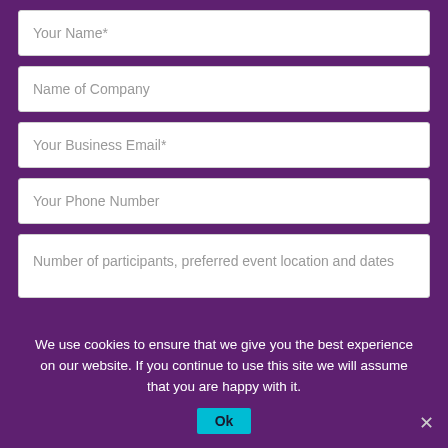Your Name*
Name of Company
Your Business Email*
Your Phone Number
Number of participants, preferred event location and dates
We use cookies to ensure that we give you the best experience on our website. If you continue to use this site we will assume that you are happy with it.
Ok